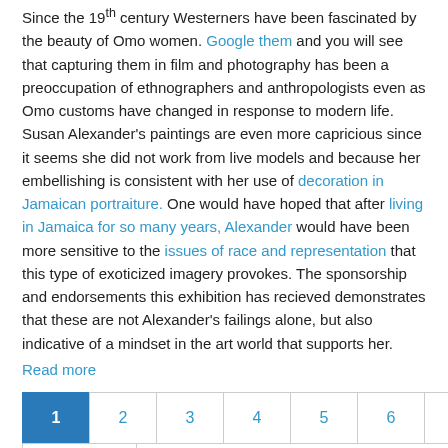Since the 19th century Westerners have been fascinated by the beauty of Omo women. Google them and you will see that capturing them in film and photography has been a preoccupation of ethnographers and anthropologists even as Omo customs have changed in response to modern life. Susan Alexander's paintings are even more capricious since it seems she did not work from live models and because her embellishing is consistent with her use of decoration in Jamaican portraiture. One would have hoped that after living in Jamaica for so many years, Alexander would have been more sensitive to the issues of race and representation that this type of exoticized imagery provokes. The sponsorship and endorsements this exhibition has recieved demonstrates that these are not Alexander's failings alone, but also indicative of a mindset in the art world that supports her.
Read more
1 2 3 4 5 6 7 8 9 Next › Last »
[Figure (photo): Partial photo of a person's head/face, cropped, with green background visible]